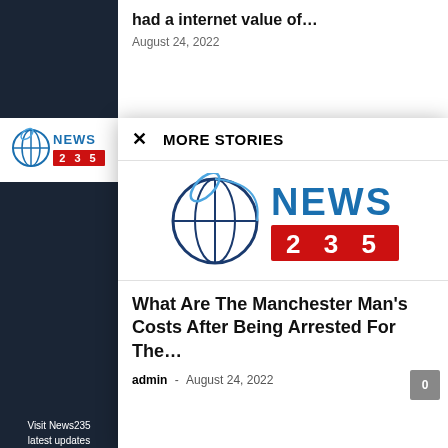had a internet value of…
August 24, 2022
MORE STORIES
[Figure (logo): News235 logo with globe icon and red banner with '2 3 5']
What Are The Manchester Man's Costs After Being Arrested For The…
admin - August 24, 2022
[Figure (logo): Small News235 logo in sidebar]
Visit News235 latest updates
readers!